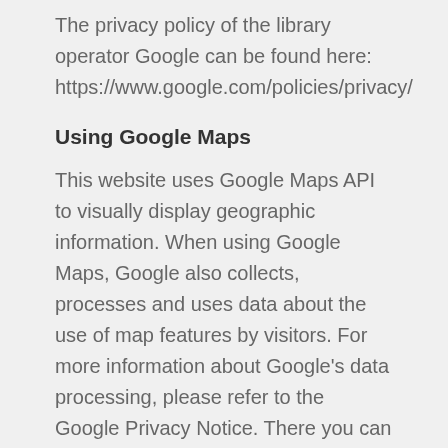The privacy policy of the library operator Google can be found here: https://www.google.com/policies/privacy/
Using Google Maps
This website uses Google Maps API to visually display geographic information. When using Google Maps, Google also collects, processes and uses data about the use of map features by visitors. For more information about Google's data processing, please refer to the Google Privacy Notice. There you can also change your personal privacy settings in the privacy center.
Detailed instructions on how to manage your own data related to Google products can be